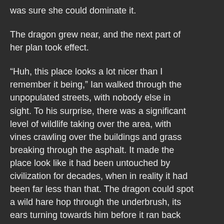was sure she could dominate it.
The dragon grew near, and the next part of her plan took effect.
“Huh, this place looks a lot nicer than I remember it being,” Ian walked through the unpopulated streets, with nobody else in sight. To his surprise, there was a significant level of wildlife taking over the area, with vines crawling over the buildings and grass breaking through the asphalt. It made the place look like it had been untouched by civilization for decades, when in reality it had been far less than that. The dragon could spot a wild hare hop through the underbrush, its ears turning towards him before it ran back out of sight.
Unknown to him, all the plants around him had been modified to produce the same hypnotic spores that had lead him here in the first place.